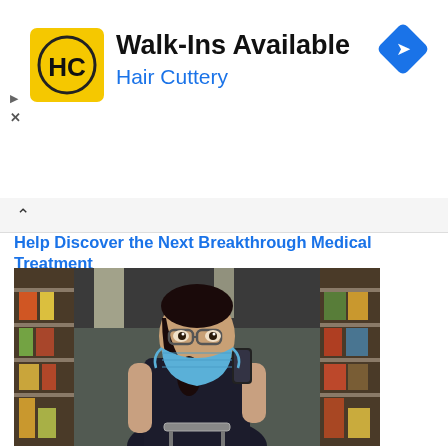[Figure (logo): Hair Cuttery advertisement banner with HC yellow logo, title 'Walk-Ins Available', subtitle 'Hair Cuttery', and blue navigation diamond icon]
Help Discover the Next Breakthrough Medical Treatment
[Figure (photo): Woman wearing a blue surgical mask and glasses, dressed in a black t-shirt, pushing a shopping cart in a grocery store aisle while holding a smartphone and looking upward]